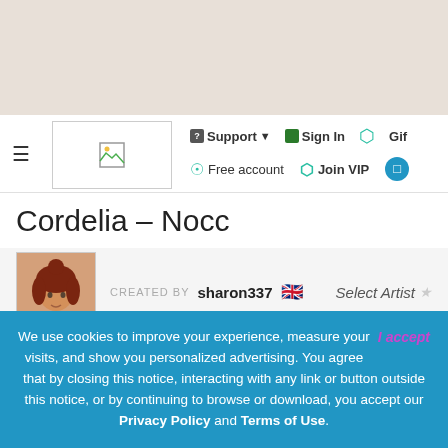[Figure (screenshot): Website navigation bar with Support, Sign In, Gift, Free account, Join VIP links and logo]
Cordelia – Nocc
CREATED BY sharon337 🇬🇧   Select Artist
1,522 DOWNLOADS   5 COMMENTS
We use cookies to improve your experience, measure your visits, and show you personalized advertising. You agree that by closing this notice, interacting with any link or button outside this notice, or by continuing to browse or download, you accept our Privacy Policy and Terms of Use.